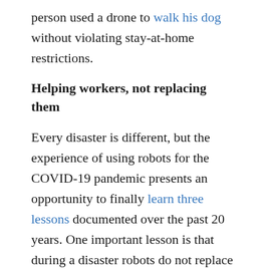person used a drone to walk his dog without violating stay-at-home restrictions.
Helping workers, not replacing them
Every disaster is different, but the experience of using robots for the COVID-19 pandemic presents an opportunity to finally learn three lessons documented over the past 20 years. One important lesson is that during a disaster robots do not replace people. They either perform tasks that a person could not do or do safely, or take on tasks that free up responders to handle the increased workload.
The majority of robots being used in hospitals